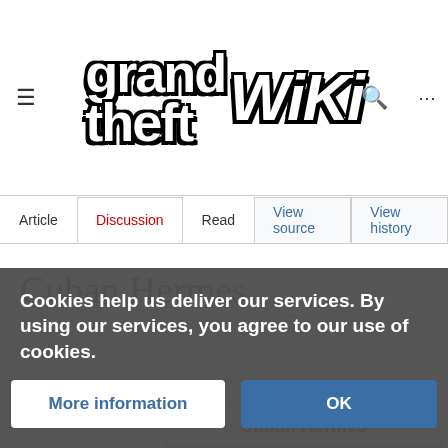[Figure (logo): Grand Theft Auto Wiki logo with bold stylized text 'grand theft' stacked and 'WiKi' in italic bold, black and white]
Article | Discussion | Read | View source | View history
Cuban Hermes
| VEHICLE |
| --- |
| Cuban Hermes |
| [image of black car with flame livery] |
Cookies help us deliver our services. By using our services, you agree to our use of cookies.
More information | OK